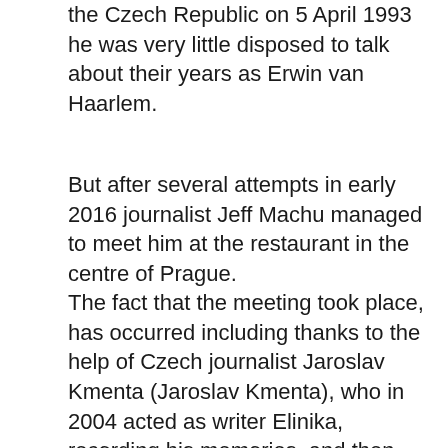the Czech Republic on 5 April 1993 he was very little disposed to talk about their years as Erwin van Haarlem.
But after several attempts in early 2016 journalist Jeff Machu managed to meet him at the restaurant in the centre of Prague.
The fact that the meeting took place, has occurred including thanks to the help of Czech journalist Jaroslav Kmenta (Jaroslav Kmenta), who in 2004 acted as writer Elinika, recording his memories, and then one book was published in Czech.
When Jeff Mays spring day in 2016, met with Linecom, he had a lot of questions, one more interesting another.
Among them were, for example, the question of how